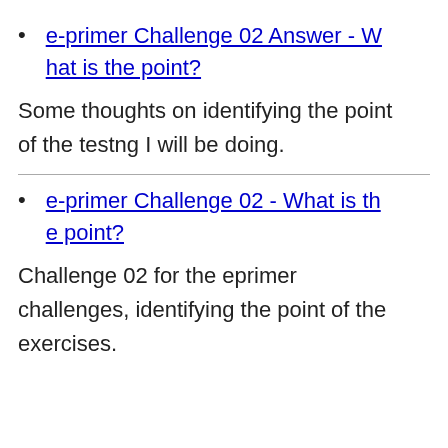e-primer Challenge 02 Answer - What is the point?
Some thoughts on identifying the point of the testng I will be doing.
e-primer Challenge 02 - What is the point?
Challenge 02 for the eprimer challenges, identifying the point of the exercises.